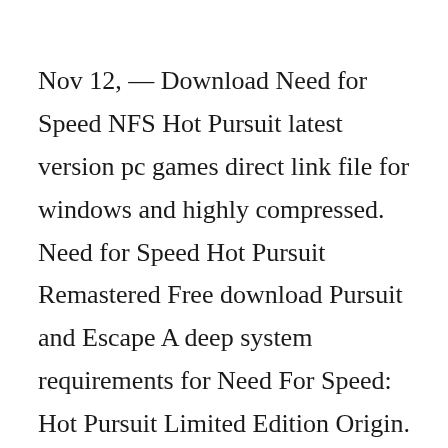Nov 12, — Download Need for Speed NFS Hot Pursuit latest version pc games direct link file for windows and highly compressed. Need for Speed Hot Pursuit Remastered Free download Pursuit and Escape A deep system requirements for Need For Speed: Hot Pursuit Limited Edition Origin. Dec 28,  · Download Need for Speed III: Hot Pursuit for Windows to race cars in many modes, including police